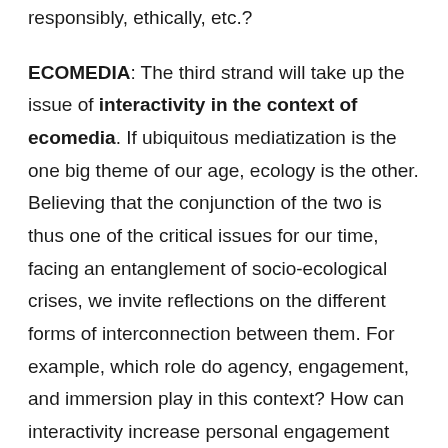responsibly, ethically, etc.?
ECOMEDIA: The third strand will take up the issue of interactivity in the context of ecomedia. If ubiquitous mediatization is the one big theme of our age, ecology is the other. Believing that the conjunction of the two is thus one of the critical issues for our time, facing an entanglement of socio-ecological crises, we invite reflections on the different forms of interconnection between them. For example, which role do agency, engagement, and immersion play in this context? How can interactivity increase personal engagement and, what can interactive ecomedia add to the striving to create 'moving' experiences and encounters?